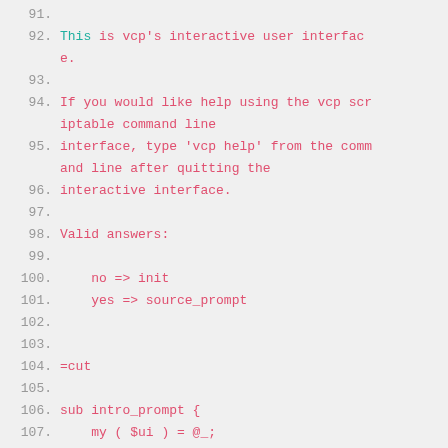91.
92. This is vcp's interactive user interface.
93.
94. If you would like help using the vcp scriptable command line
95. interface, type 'vcp help' from the command line after quitting the
96. interactive interface.
97.
98. Valid answers:
99.
100.     no => init
101.     yes => source_prompt
102.
103.
104. =cut
105.
106. sub intro_prompt {
107.     my ( $ui ) = @_;
108.
109.     ## Use single-quotish HERE docs as the most robust form of quoting
110.     ## so we don't have to mess with escaping.